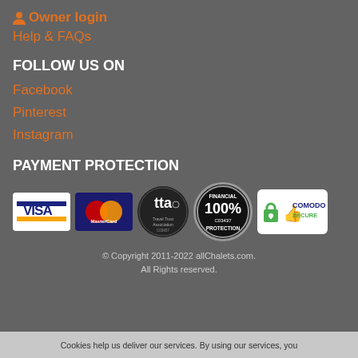Owner login
Help & FAQs
FOLLOW US ON
Facebook
Pinterest
Instagram
PAYMENT PROTECTION
[Figure (logo): Payment protection logos: Visa, MasterCard, TTA Travel Trust Association C03437, 100% Financial Protection C03437, Comodo Secure]
© Copyright 2011-2022 allChalets.com.
All Rights reserved.
Cookies help us deliver our services. By using our services, you